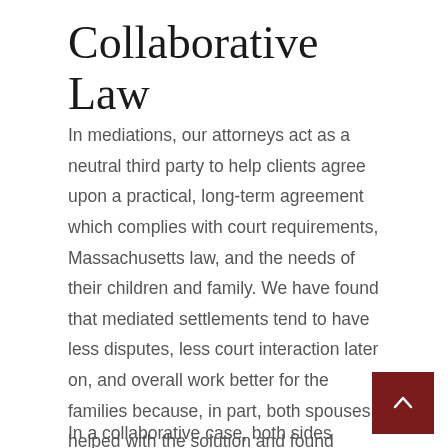Collaborative Law
In mediations, our attorneys act as a neutral third party to help clients agree upon a practical, long-term agreement which complies with court requirements, Massachusetts law, and the needs of their children and family. We have found that mediated settlements tend to have less disputes, less court interaction later on, and overall work better for the families because, in part, both spouses helped with the solution and found common ground.
In a collaborative case, both sides